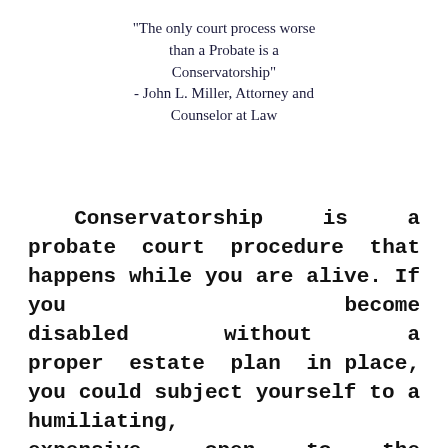"The only court process worse than a Probate is a Conservatorship" - John L. Miller, Attorney and Counselor at Law
Conservatorship is a probate court procedure that happens while you are alive. If you become disabled without a proper estate plan in place, you could subject yourself to a humiliating, expensive, open to the public, time consuming court process that will